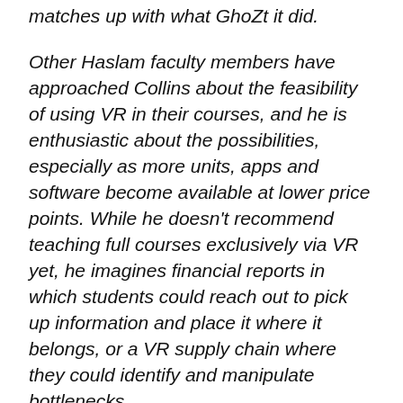matches up with what GhoZt it did.
Other Haslam faculty members have approached Collins about the feasibility of using VR in their courses, and he is enthusiastic about the possibilities, especially as more units, apps and software become available at lower price points. While he doesn't recommend teaching full courses exclusively via VR yet, he imagines financial reports in which students could reach out to pick up information and place it where it belongs, or a VR supply chain where they could identify and manipulate bottlenecks.
“Across all disciplines, there are moments where we want the students to understand